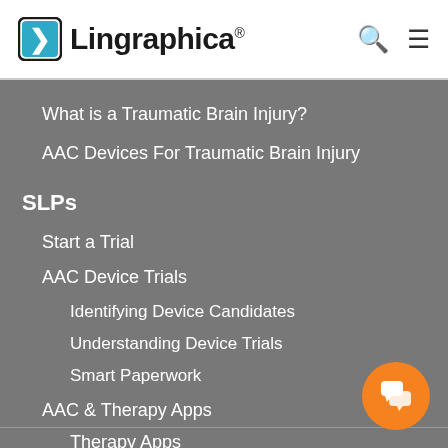[Figure (logo): Lingraphica logo with speech bubble icon and registered trademark]
What is a Traumatic Brain Injury?
AAC Devices For Traumatic Brain Injury
SLPs
Start a Trial
AAC Device Trials
Identifying Device Candidates
Understanding Device Trials
Smart Paperwork
AAC & Therapy Apps
Therapy Apps